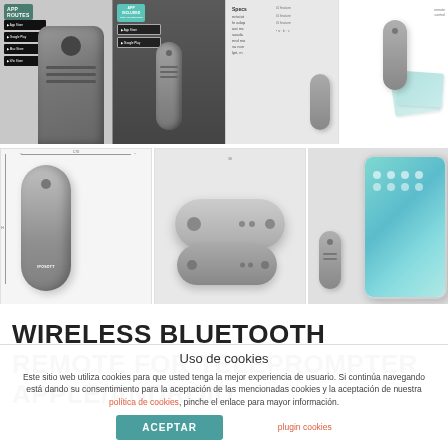[Figure (photo): Product image collage showing wireless Bluetooth remote controls for teleprompter - four images across top showing product in hand, standalone device, instructions/specs, and device with cards]
[Figure (photo): Bottom row of product images: stacked remote units with dimensions, remote with oval design, and remote next to phone displaying app]
WIRELESS BLUETOOTH REMOTE FOR TELEPROMPTER APPLE/ANDROID
Uso de cookies
Este sitio web utiliza cookies para que usted tenga la mejor experiencia de usuario. Si continúa navegando está dando su consentimiento para la aceptación de las mencionadas cookies y la aceptación de nuestra política de cookies, pinche el enlace para mayor información.
ACEPTAR
plugin cookies